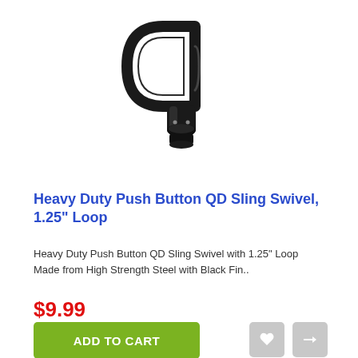[Figure (photo): Black heavy duty push button QD sling swivel with 1.25 inch loop, made of steel with black finish, photographed on white background]
Heavy Duty Push Button QD Sling Swivel, 1.25" Loop
Heavy Duty Push Button QD Sling Swivel with 1.25" Loop Made from High Strength Steel with Black Fin..
$9.99
ADD TO CART